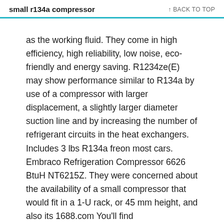small r134a compressor   ↑ BACK TO TOP
as the working fluid. They come in high efficiency, high reliability, low noise, eco-friendly and energy saving. R1234ze(E) may show performance similar to R134a by use of a compressor with larger displacement, a slightly larger diameter suction line and by increasing the number of refrigerant circuits in the heat exchangers. Includes 3 lbs R134a freon most cars. Embraco Refrigeration Compressor 6626 BtuH NT6215Z. They were concerned about the availability of a small compressor that would fit in a 1-U rack, or 45 mm height, and also its 1688.com You'll find